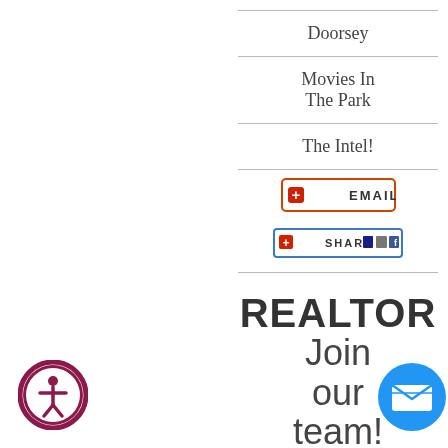Doorsey
Movies In The Park
The Intel!
[Figure (other): EMAIL button with red plus icon]
[Figure (other): SHARE button with social icons]
REALTOR Join our team!
THE ASHTON REAL ESTATE GROUP
[Figure (other): Accessibility icon - person in circle with dark red/maroon border]
[Figure (other): Blue chat/email bubble icon]